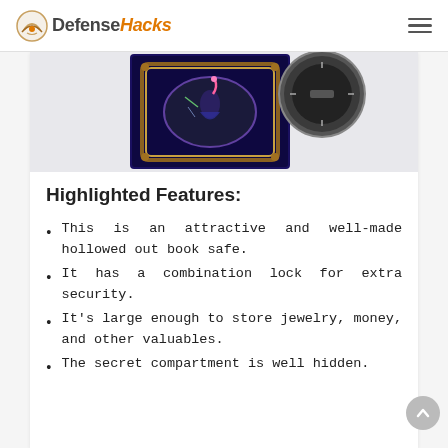DefenseHacks
[Figure (photo): Product photo of a hollowed out book safe with decorative mirror/fantasy artwork on the cover, and a circular inset view showing the combination lock mechanism.]
Highlighted Features:
This is an attractive and well-made hollowed out book safe.
It has a combination lock for extra security.
It's large enough to store jewelry, money, and other valuables.
The secret compartment is well hidden.